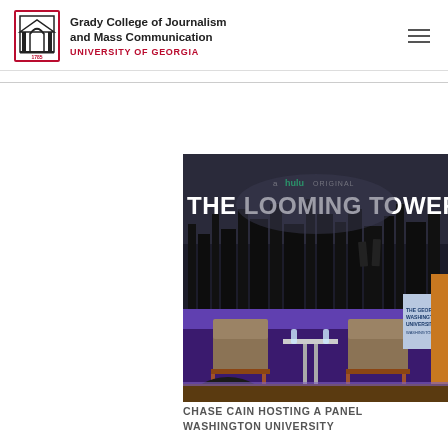Grady College of Journalism and Mass Communication UNIVERSITY OF GEORGIA
[Figure (photo): Event stage photo showing 'THE LOOMING TOWER' Hulu original promotional screen in the background, with two chairs and a small table on a purple-lit stage. George Washington University branding visible on a podium.]
CHASE CAIN HOSTING A PANEL AT GEORGE WASHINGTON UNIVERSITY
WHAT HAS BEEN THE MOST IMPORTANT LESSON YOU'VE LEARNED THROUGH YOUR CAREER?